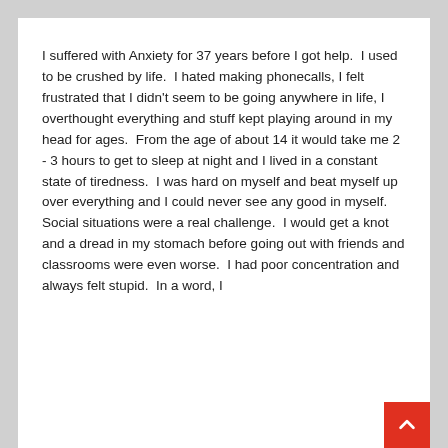I suffered with Anxiety for 37 years before I got help.  I used to be crushed by life.  I hated making phonecalls, I felt frustrated that I didn't seem to be going anywhere in life, I overthought everything and stuff kept playing around in my head for ages.  From the age of about 14 it would take me 2 - 3 hours to get to sleep at night and I lived in a constant state of tiredness.  I was hard on myself and beat myself up over everything and I could never see any good in myself.  Social situations were a real challenge.  I would get a knot and a dread in my stomach before going out with friends and classrooms were even worse.  I had poor concentration and always felt stupid.  In a word, I